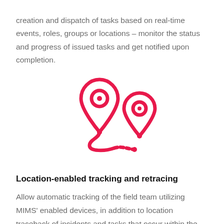creation and dispatch of tasks based on real-time events, roles, groups or locations – monitor the status and progress of issued tasks and get notified upon completion.
[Figure (illustration): Two red map pin / location marker icons connected by a winding dashed path, representing location tracking and route retracing.]
Location-enabled tracking and retracing
Allow automatic tracking of the field team utilizing MIMS' enabled devices, in addition to location traceback of incidents and tasks that occur within the port, supported with time stamps. With geofencing